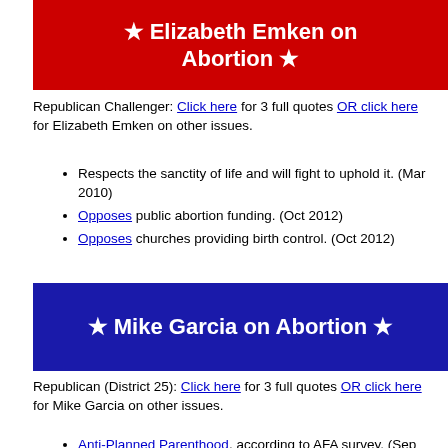★ Elizabeth Emken on Abortion ★
Republican Challenger: Click here for 3 full quotes OR click here for Elizabeth Emken on other issues.
Respects the sanctity of life and will fight to uphold it. (Mar 2010)
Opposes public abortion funding. (Oct 2012)
Opposes churches providing birth control. (Oct 2012)
★ Mike Garcia on Abortion ★
Republican (District 25): Click here for 3 full quotes OR click here for Mike Garcia on other issues.
Anti-Planned Parenthood, according to AFA survey. (Sep 2020)
Strongly support Born Alive Survivors, according to AFA survey. (Sep 2020)
Pro-life, according to PVS survey. (Sep 2020)